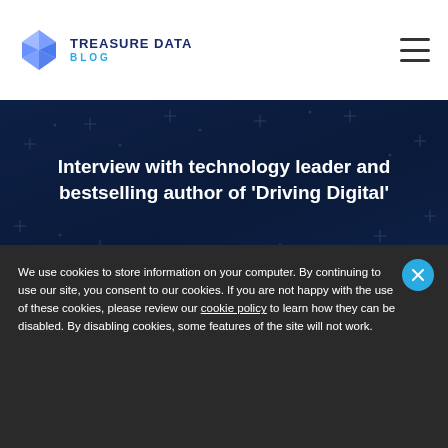TREASURE DATA BLOG
Interview with technology leader and bestselling author of 'Driving Digital'
We use cookies to store information on your computer. By continuing to use our site, you consent to our cookies. If you are not happy with the use of these cookies, please review our cookie policy to learn how they can be disabled. By disabling cookies, some features of the site will not work.